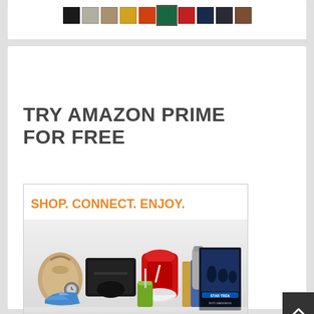[Figure (other): Color swatches strip showing various colors: black, light gray, tan/khaki, yellow/gold, orange, teal/dark green (selected/highlighted), red, dark navy, dark gray/charcoal, brown]
TRY AMAZON PRIME FOR FREE
[Figure (infographic): Amazon advertisement banner showing 'SHOP. CONNECT. ENJOY.' in orange text at top, collage of products (handbag, PS4 console, KitchenAid mixer, Kindle tablet, books, water bottle/thermos, sneakers, green smoothie, Star Trek movie Blu-ray), text 'All from Earth's biggest selection.' and Amazon logo with smile arrow beneath.]